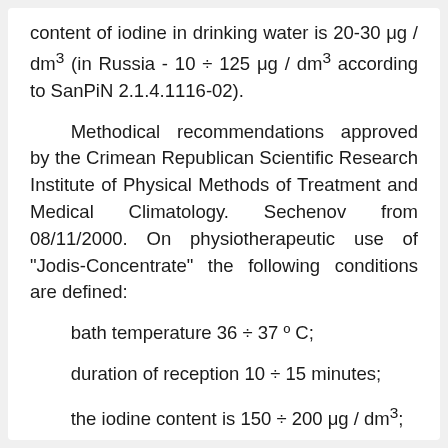content of iodine in drinking water is 20-30 μg / dm³ (in Russia - 10 ÷ 125 μg / dm³ according to SanPiN 2.1.4.1116-02).
Methodical recommendations approved by the Crimean Republican Scientific Research Institute of Physical Methods of Treatment and Medical Climatology. Sechenov from 08/11/2000. On physiotherapeutic use of "Jodis-Concentrate" the following conditions are defined:
bath temperature 36 ÷ 37 º C;
duration of reception 10 ÷ 15 minutes;
the iodine content is 150 ÷ 200 μg / dm³;